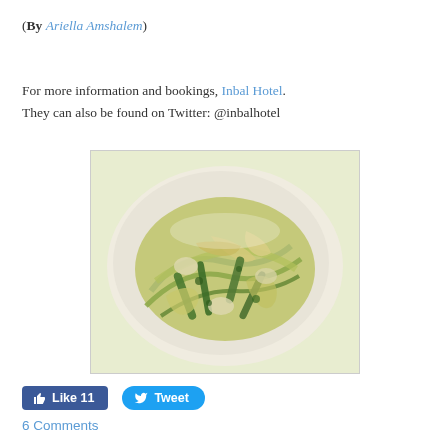(By Ariella Amshalem)
For more information and bookings, Inbal Hotel.
They can also be found on Twitter: @inbalhotel
[Figure (photo): A plate of pasta with green vegetables and herbs, served on a white plate]
Like 11   Tweet
6 Comments
Top 5 questions overheard during the New